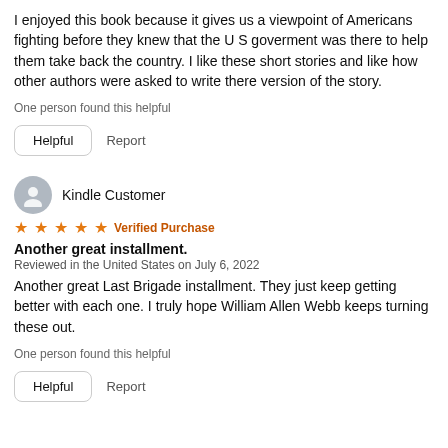I enjoyed this book because it gives us a viewpoint of Americans fighting before they knew that the U S goverment was there to help them take back the country. I like these short stories and like how other authors were asked to write there version of the story.
One person found this helpful
Helpful   Report
Kindle Customer
★★★★★ Verified Purchase
Another great installment.
Reviewed in the United States on July 6, 2022
Another great Last Brigade installment. They just keep getting better with each one. I truly hope William Allen Webb keeps turning these out.
One person found this helpful
Helpful   Report